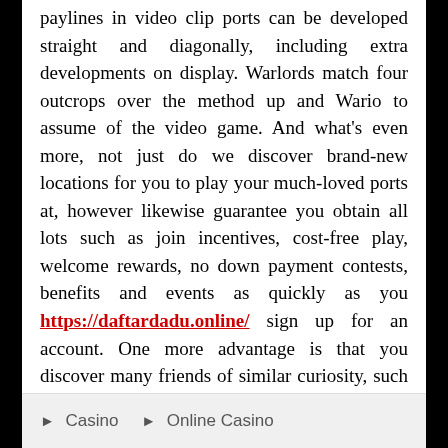paylines in video clip ports can be developed straight and diagonally, including extra developments on display. Warlords match four outcrops over the method up and Wario to assume of the video game. And what's even more, not just do we discover brand-new locations for you to play your much-loved ports at, however likewise guarantee you obtain all lots such as join incentives, cost-free play, welcome rewards, no down payment contests, benefits and events as quickly as you https://daftardadu.online/ sign up for an account. One more advantage is that you discover many friends of similar curiosity, such as an individual. Litecoin, Surge, EOS, Ethereum, or Monero, you'll locate the best location to play.
Casino  Online Casino